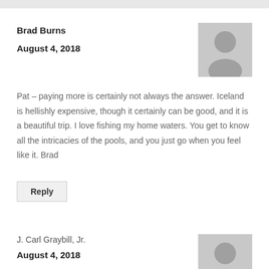Brad Burns
August 4, 2018
Pat – paying more is certainly not always the answer. Iceland is hellishly expensive, though it certainly can be good, and it is a beautiful trip. I love fishing my home waters. You get to know all the intricacies of the pools, and you just go when you feel like it. Brad
Reply
J. Carl Graybill, Jr.
August 4, 2018
Brad,
I wish we could have sent some of the rain we got in the Hershey, PA area up to the Miramichi Valley. In